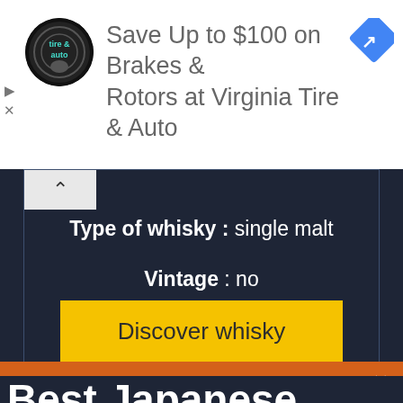[Figure (screenshot): Ad banner: Virginia Tire & Auto logo and ad with text 'Save Up to $100 on Brakes & Rotors at Virginia Tire & Auto' with Google Maps turn icon on right]
Type of whisky : single malt
Vintage : no
Discover whisky
Best Japanese Whisky's Brands